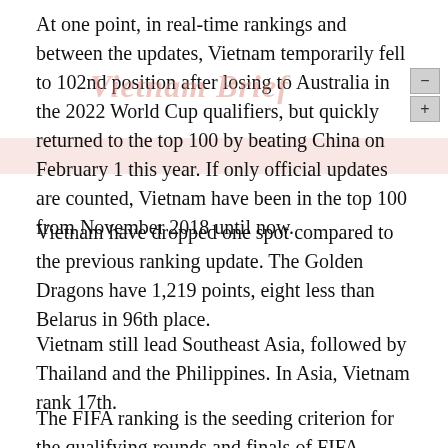At one point, in real-time rankings and between the updates, Vietnam temporarily fell to 102nd position after losing to Australia in the 2022 World Cup qualifiers, but quickly returned to the top 100 by beating China on February 1 this year. If only official updates are counted, Vietnam have been in the top 100 from November 2018 until now.
Vietnam have dropped one spot compared to the previous ranking update. The Golden Dragons have 1,219 points, eight less than Belarus in 96th place.
Vietnam still lead Southeast Asia, followed by Thailand and the Philippines. In Asia, Vietnam rank 17th.
The FIFA ranking is the seeding criterion for the qualifying rounds and finals of FIFA tournaments like the World Cup or Asian Cup.
While this has been Vietnam's longest run in the top 100 FIFA rankings to date, the team are well short of the record 84th